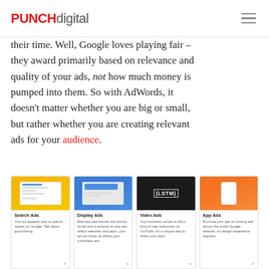PUNCH digital
their time. Well, Google loves playing fair – they award primarily based on relevance and quality of your ads, not how much money is pumped into them. So with AdWords, it doesn't matter whether you are big or small, but rather whether you are creating relevant ads for your audience.
[Figure (screenshot): Four Google AdWords ad type cards: Search Ads, Display Ads, Video Ads, App Ads — each with a thumbnail image and short description]